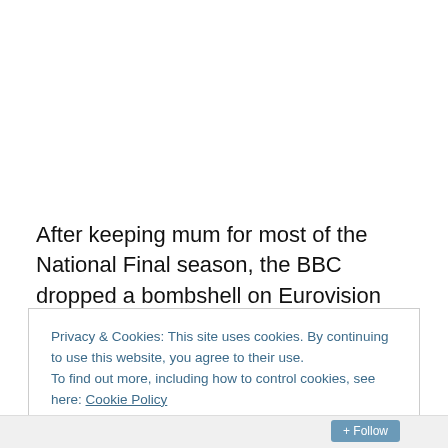After keeping mum for most of the National Final season, the BBC dropped a bombshell on Eurovision fans by announcing that veteran crooner Engelbert Humperdinck would be representing the United Kingdom in Baku this May.  Once the shockwaves subsided, people started to wonder about the song he'd bring to the audience on the Caspian Sea.  We weren't even thrown a bone as to the
Privacy & Cookies: This site uses cookies. By continuing to use this website, you agree to their use.
To find out more, including how to control cookies, see here: Cookie Policy
Close and accept